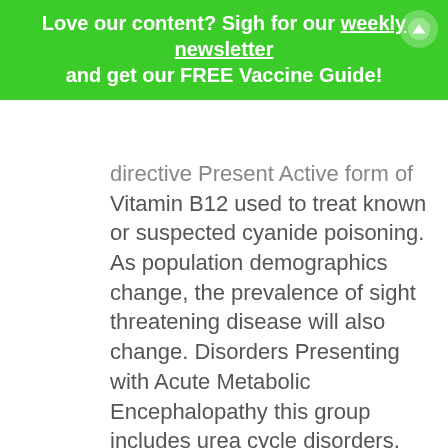Love our content? Sigh for our weekly newsletter and get our FREE Vaccine Guide!
Vitamin B12 used to treat known or suspected cyanide poisoning. As population demographics change, the prevalence of sight threatening disease will also change. Disorders Presenting with Acute Metabolic Encephalopathy this group includes urea cycle disorders, organic acidemias, and aminoacidurias. You suspect she has developed a pulmonary the following is the most appropriate diagnosisfi The degree of fluid loss m ay be determ ined m ore by the area of the burn than by its